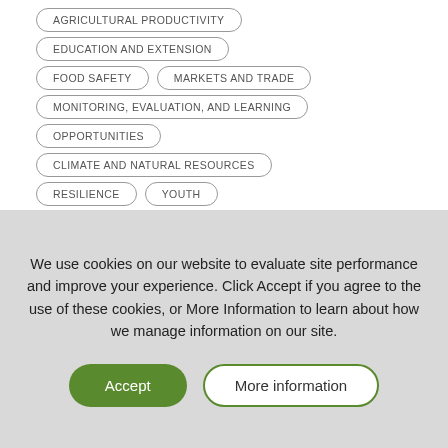AGRICULTURAL PRODUCTIVITY
EDUCATION AND EXTENSION
FOOD SAFETY
MARKETS AND TRADE
MONITORING, EVALUATION, AND LEARNING
OPPORTUNITIES
CLIMATE AND NATURAL RESOURCES
RESILIENCE
YOUTH
We use cookies on our website to evaluate site performance and improve your experience. Click Accept if you agree to the use of these cookies, or More Information to learn about how we manage information on our site.